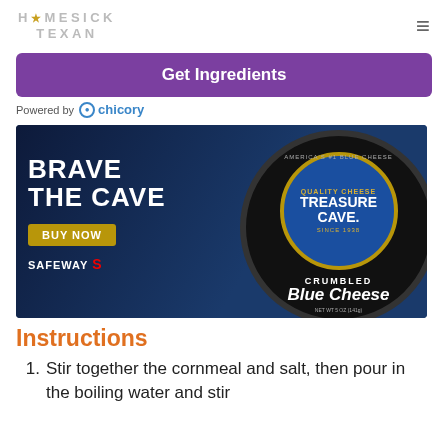HOMESICK TEXAN
[Figure (other): Get Ingredients button (purple rounded rectangle)]
Powered by chicory
[Figure (photo): Treasure Cave Crumbled Blue Cheese advertisement: 'Brave the Cave – Buy Now – Safeway' with product image on dark blue background]
Instructions
Stir together the cornmeal and salt, then pour in the boiling water and stir